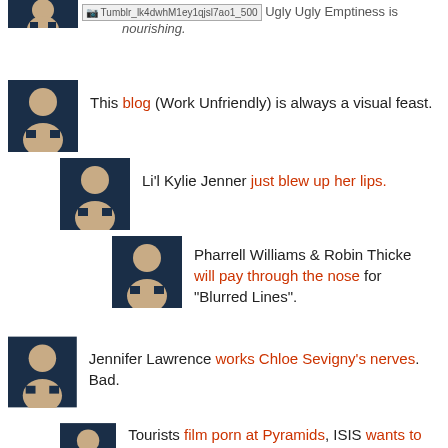[Figure (screenshot): Top partial avatar icon (dark navy)]
Tumblr_lk4dwhM1ey1qjsl7ao1_500 Ugly Ugly Emptiness is nourishing.
This blog (Work Unfriendly) is always a visual feast.
Li'l Kylie Jenner just blew up her lips.
Pharrell Williams & Robin Thicke will pay through the nose for "Blurred Lines".
Jennifer Lawrence works Chloe Sevigny's nerves. Bad.
Tourists film porn at Pyramids, ISIS wants to destroy them.
Iggy Azalea tour postponed.
There is apparently a sane and Democratic